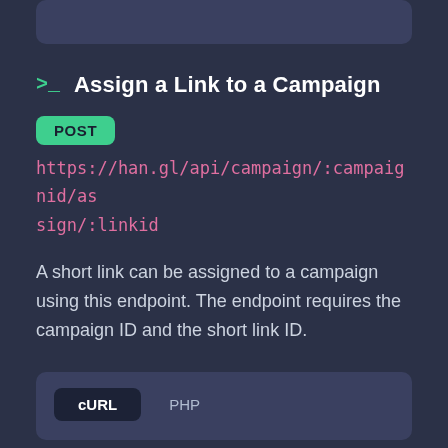>_ Assign a Link to a Campaign
POST
https://han.gl/api/campaign/:campaignid/assign/:linkid
A short link can be assigned to a campaign using this endpoint. The endpoint requires the campaign ID and the short link ID.